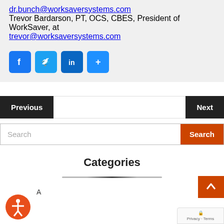dr.bunch@worksaversystems.com
Trevor Bardarson, PT, OCS, CBES, President of WorkSaver, at trevor@worksaversystems.com
[Figure (other): Social media share buttons: Facebook, Twitter, LinkedIn, Share]
Previous
Next
Search
Categories
(20)